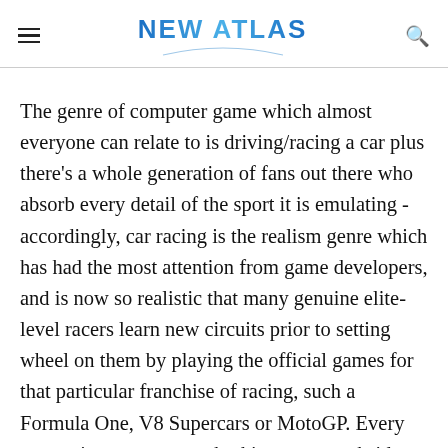NEW ATLAS
The genre of computer game which almost everyone can relate to is driving/racing a car plus there's a whole generation of fans out there who absorb every detail of the sport it is emulating - accordingly, car racing is the realism genre which has had the most attention from game developers, and is now so realistic that many genuine elite-level racers learn new circuits prior to setting wheel on them by playing the official games for that particular franchise of racing, such a Formula One, V8 Supercars or MotoGP. Every competitor, car, corner, braking area, trackside marquis ad infinitum